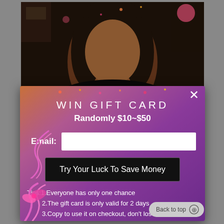[Figure (screenshot): Screenshot of a website popup modal over a video/photo of a woman. The modal has a gradient background (orange to purple) and shows a 'Win Gift Card' promotion with email input and tips.]
WIN GIFT CARD
Randomly $10~$50
Email:
Try Your Luck To Save Money
Tips:1.Everyone has only one chance
2.The gift card is only valid for 2 days
3.Copy to use it on checkout, don't lose it! Can combine with normal discount
Back to top